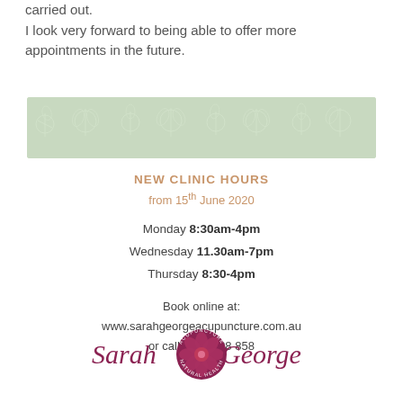carried out.
I look very forward to being able to offer more appointments in the future.
[Figure (illustration): Decorative green banner with floral/leaf pattern in light sage green tones]
NEW CLINIC HOURS
from 15th June 2020
Monday 8:30am-4pm
Wednesday 11.30am-7pm
Thursday 8:30-4pm
Book online at:
www.sarahgeorgeacupuncture.com.au
or call 0448 128 858
[Figure (logo): Sarah George Acupuncture Natural Health logo with cursive text and floral emblem in dark pink/maroon]